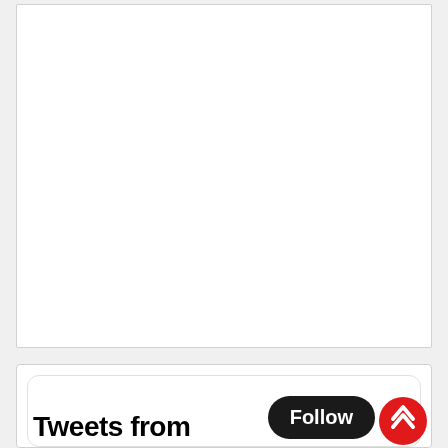[Figure (screenshot): White empty box with light border, likely a placeholder or empty embedded content area]
[Figure (screenshot): Twitter/X widget card showing 'Tweets from' text with a Follow button and a red scroll-to-top button with chevron up icon]